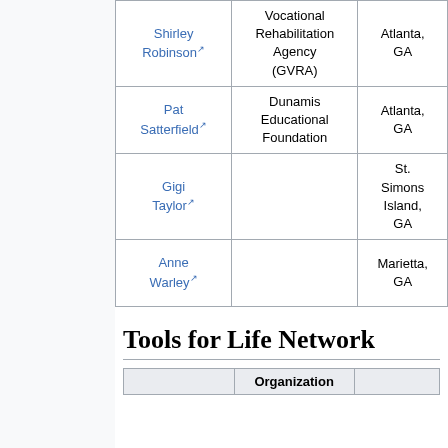| Name | Organization | Location |
| --- | --- | --- |
| Shirley Robinson | Vocational Rehabilitation Agency (GVRA) | Atlanta, GA |
| Pat Satterfield | Dunamis Educational Foundation | Atlanta, GA |
| Gigi Taylor |  | St. Simons Island, GA |
| Anne Warley |  | Marietta, GA |
Tools for Life Network
| Name | Organization | Location |
| --- | --- | --- |